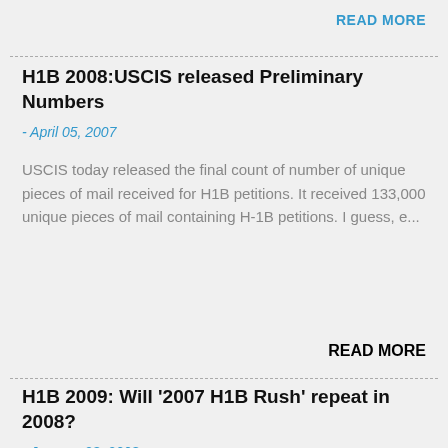READ MORE
H1B 2008:USCIS released Preliminary Numbers
- April 05, 2007
USCIS today released the final count of number of unique pieces of mail received for H1B petitions. It received 133,000 unique pieces of mail containing H-1B petitions. I guess, e...
READ MORE
H1B 2009: Will '2007 H1B Rush' repeat in 2008?
- January 23, 2008